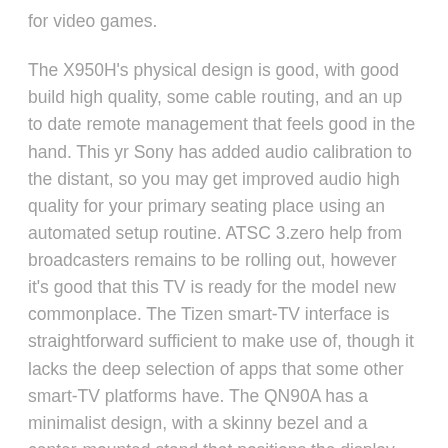for video games.
The X950H's physical design is good, with good build high quality, some cable routing, and an up to date remote management that feels good in the hand. This yr Sony has added audio calibration to the distant, so you may get improved audio high quality for your primary seating place using an automated setup routine. ATSC 3.zero help from broadcasters remains to be rolling out, however it's good that this TV is ready for the model new commonplace. The Tizen smart-TV interface is straightforward sufficient to make use of, though it lacks the deep selection of apps that some other smart-TV platforms have. The QN90A has a minimalist design, with a skinny bezel and a center-mounted stand that positions the display excessive enough for you to place a soundbar in front of the TV.
With lower-resolution content corresponding to DVDs and standard-definition cable, you're extra prone to notice